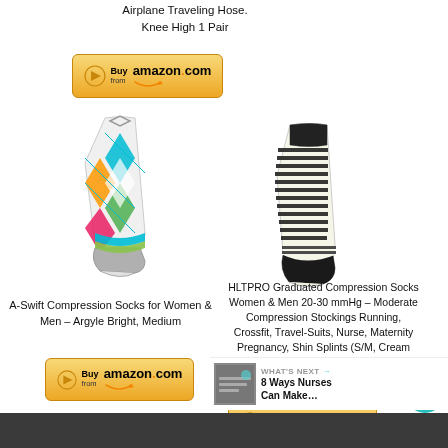Airplane Traveling Hose. Knee High 1 Pair
[Figure (photo): Amazon Buy button for top product]
[Figure (photo): A-Swift compression sock with argyle bright multi-color pattern]
[Figure (photo): HLTPRO compression sock in cream black stripe pattern]
A-Swift Compression Socks for Women & Men – Argyle Bright, Medium
[Figure (photo): Amazon Buy button for A-Swift sock]
HLTPRO Graduated Compression Socks Women & Men 20-30 mmHg – Moderate Compression Stockings Running, Crossfit, Travel-Suits, Nurse, Maternity Pregnancy, Shin Splints (S/M, Cream Black Stripe)
[Figure (photo): Amazon Buy button for HLTPRO sock]
WHAT'S NEXT → 8 Ways Nurses Can Make…